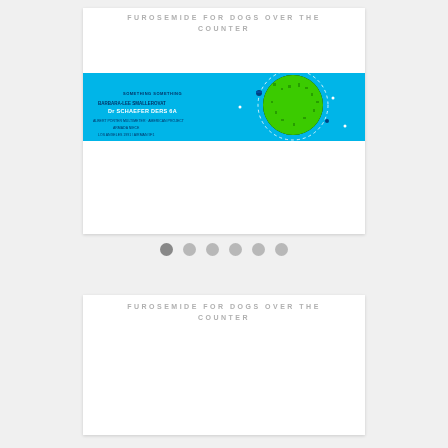FUROSEMIDE FOR DOGS OVER THE COUNTER
[Figure (screenshot): Banner image with cyan/blue background showing a green circuit-board style globe with text about a science or technology conference/project. Text includes event details and locations like Los Angeles.]
FUROSEMIDE FOR DOGS OVER THE COUNTER